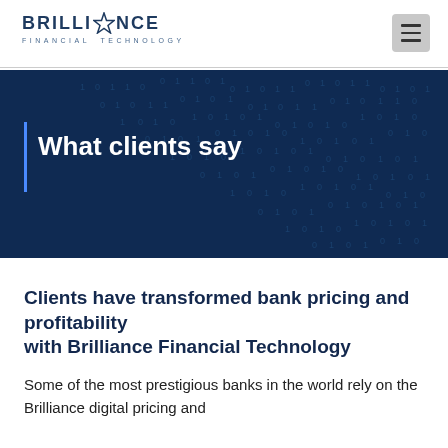[Figure (logo): Brilliance Financial Technology logo with star icon]
[Figure (illustration): Dark navy banner with binary digits pattern background]
What clients say
Clients have transformed bank pricing and profitability with Brilliance Financial Technology
Some of the most prestigious banks in the world rely on the Brilliance digital pricing and profitability solutions.